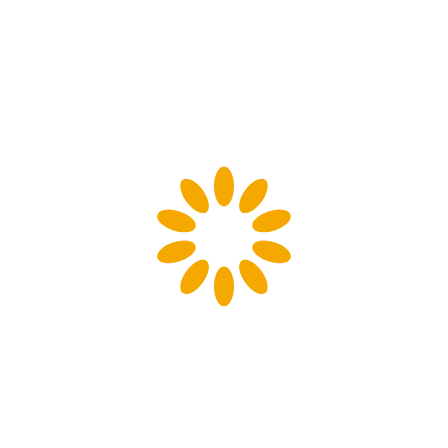[Figure (logo): An orange/amber circular logo made of curved petal-like segments arranged in a ring (decagon/dodecagon shape), forming a ring with gaps between the petals. The overall shape is a circle approximately 130px in diameter, with the center hollow.]